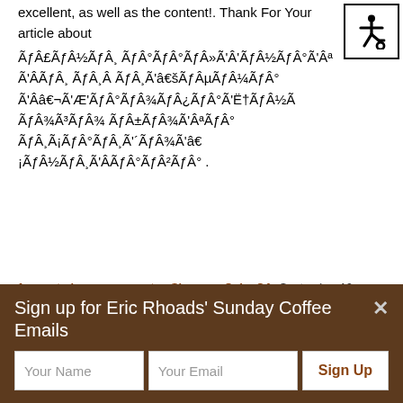excellent, as well as the content!. Thank For Your article about ÃƒÂ£ÃƒÂ½ÃƒÂ¸ ÃƒÂ°ÃƒÂ°ÃƒÂ»Ã'Â'ÃƒÂ½ÃƒÂ°Ã'Âª Ã'ÂÃƒÂ¸ ÃƒÂ¸Â ÃƒÂ¸Ã'â€šÃƒÂµÃƒÂ¼ÃƒÂ° Ã'Ââ€¬Ã'Æ'ÃƒÂ°ÃƒÂ¾ÃƒÂ¿ÃƒÂ°Ã'Ë†ÃƒÂ½Ã ƒÂ¾ÃƒÂ³ÃƒÂ¾ ÃƒÂ±ÃƒÂ¾Ã'Âª ÃƒÂ¸Ã¡ÃƒÂ°ÃƒÂ¸Ã'Â´ÃƒÂ¾Ã'â€ ¡ÃƒÂ½ÃƒÂ¸Ã'ÂÃƒÂ°ÃƒÂ²ÃƒÂ°.
free auto insurance quotes Sherman Oaks CA September 12, 2018 at 7:23 am - Reply
And Jason who just moved here has done
Sign up for Eric Rhoads' Sunday Coffee Emails
Your Name
Your Email
Sign Up